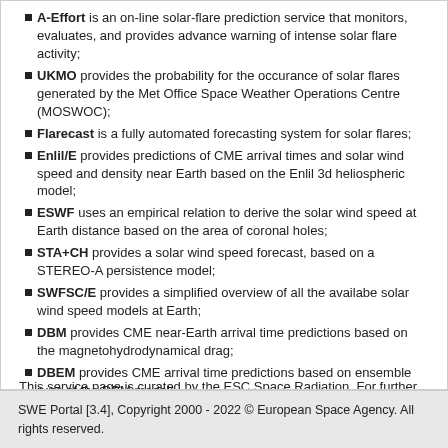A-Effort is an on-line solar-flare prediction service that monitors, evaluates, and provides advance warning of intense solar flare activity;
UKMO provides the probability for the occurance of solar flares generated by the Met Office Space Weather Operations Centre (MOSWOC);
Flarecast is a fully automated forecasting system for solar flares;
Enlil/E provides predictions of CME arrival times and solar wind speed and density near Earth based on the Enlil 3d heliospheric model;
ESWF uses an empirical relation to derive the solar wind speed at Earth distance based on the area of coronal holes;
STA+CH provides a solar wind speed forecast, based on a STEREO-A persistence model;
SWFSC/E provides a simplified overview of all the availabe solar wind speed models at Earth;
DBM provides CME near-Earth arrival time predictions based on the magnetohydrodynamical drag;
DBEM provides CME arrival time predictions based on ensemble runs of the DBM model;
PROPTOOL allows users to propagate CMEs, corotating structures and SEPs through the interplanetary medium;
This service page is curated by the ESC Space Radiation. For further information, please contact SSCC Helpdesk.
SWE Portal [3.4], Copyright 2000 - 2022 © European Space Agency. All rights reserved.